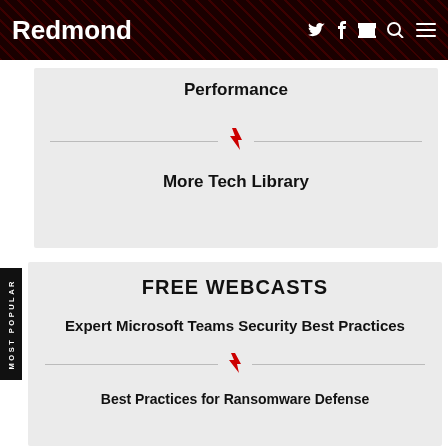Redmond
Performance
More Tech Library
FREE WEBCASTS
Expert Microsoft Teams Security Best Practices
Best Practices for Ransomware Defense